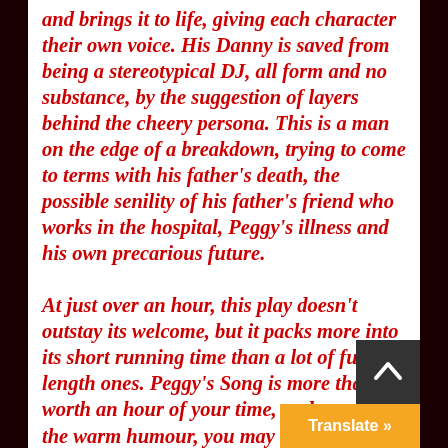and brings it to life, giving each character their own voice. His Danny is saved from being a stereotypical DJ, all form and no substance, by the suggestion of layers behind the cheery persona. This is a man on the edge of a breakdown, trying to come to terms with his father's death, the possible senility of his father's friend who works in the hospital, Peggy's illness and his own precarious future.

At just over an hour, this play doesn't outstay its welcome, but it packs more into its short running time than a lot of full-length ones. Peggy's Song is more than worth an hour of your time, and as well as the warm humour, you may well come away with a few things to think about. I know I did, and I'll treasure for a long time the sight of Christian dancing with a Bugs Bunny doll.